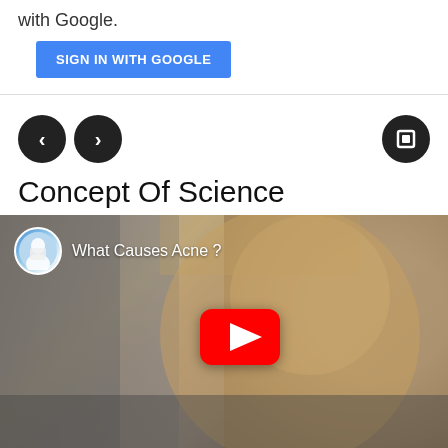with Google.
[Figure (screenshot): Blue 'SIGN IN WITH GOOGLE' button]
[Figure (screenshot): Navigation controls: back arrow, forward arrow (left), and stop/square button (right)]
Concept Of Science
[Figure (screenshot): YouTube video thumbnail for 'What Causes Acne?' showing a young woman with acne, channel avatar, video title overlay, and red YouTube play button]